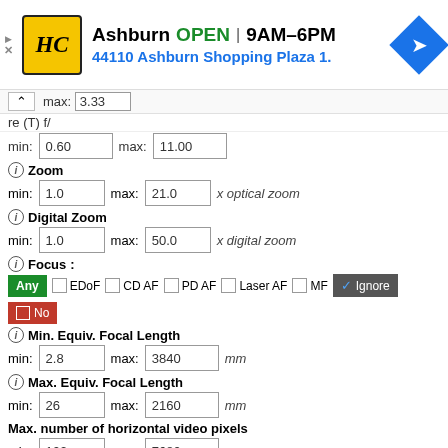[Figure (screenshot): Ad banner: HC logo, Ashburn OPEN 9AM-6PM, 44110 Ashburn Shopping Plaza 1., navigation arrow icon]
max: 3.33
re (T) f/
min: 0.60  max: 11.00
Zoom
min: 1.0  max: 21.0  x optical zoom
Digital Zoom
min: 1.0  max: 50.0  x digital zoom
Focus:
Any  EDoF  CD AF  PD AF  Laser AF  MF  Ignore  No
Min. Equiv. Focal Length
min: 2.8  max: 3840  mm
Max. Equiv. Focal Length
min: 26  max: 2160  mm
Max. number of horizontal video pixels
min: 102  max: 7680
Max. number of vertical video pixels
min: 108  max: 4320
Flash:
Ignore (dropdown)
Camera Extra Functions: